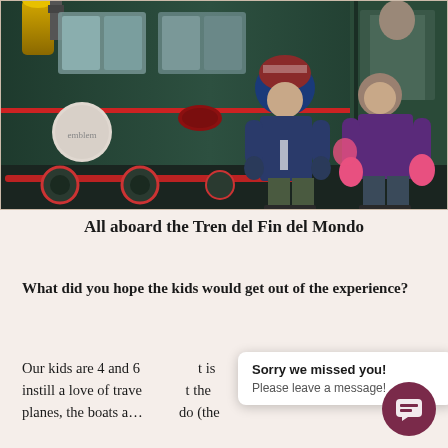[Figure (photo): Two children standing in front of a vintage green steam locomotive (Tren del Fin del Mundo). A boy wearing a striped winter hat and dark blue puffer jacket stands on the left, and a girl wearing a purple puffer jacket with pink gloves stands on the right. The locomotive has decorative red striping, a gold dome, and a white circular emblem on the side.]
All aboard the Tren del Fin del Mondo
What did you hope the kids would get out of the experience?
Our kids are 4 and 6 ... t is instill a love of trave ... t the planes, the boats a... ... del Mondo (the